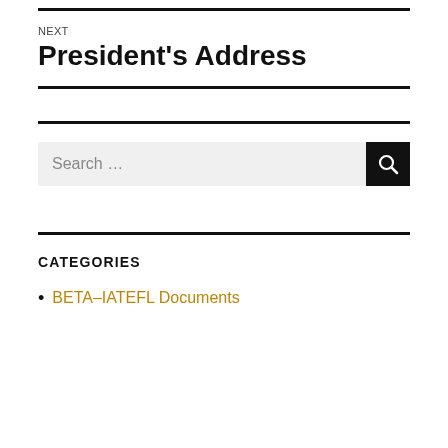NEXT
President's Address
Search …
CATEGORIES
BETA–IATEFL Documents